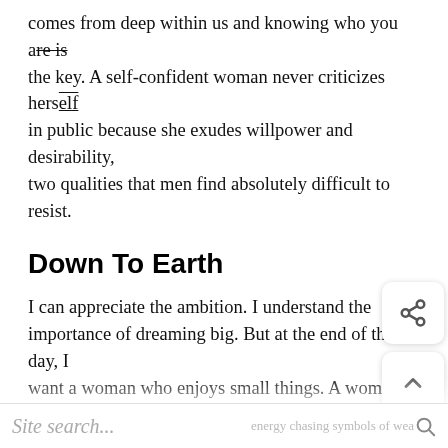comes from deep within us and knowing who you are is the key. A self-confident woman never criticizes herself in public because she exudes willpower and desirability, two qualities that men find absolutely difficult to resist.
Down To Earth
I can appreciate the ambition. I understand the importance of dreaming big. But at the end of the day, I want a woman who enjoys small things. A woman who knows what is really important in life: family, friends, love and connection.
She is honest and practical; She has no patience to pretend. She is humble and punished and does not waste her energy chasing symbols of weakness.